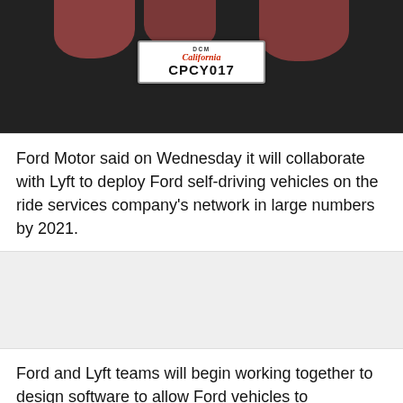[Figure (photo): Photo showing hands holding up a California license plate reading CPCY017, dark background]
Ford Motor said on Wednesday it will collaborate with Lyft to deploy Ford self-driving vehicles on the ride services company's network in large numbers by 2021.
[Figure (other): Advertisement placeholder box (grey background)]
Ford and Lyft teams will begin working together to design software to allow Ford vehicles to communicate with Lyft's smartphone apps.
Ford self-driving test vehicles will be connected to Lyft's network, but at first, customers will not be able to use them,